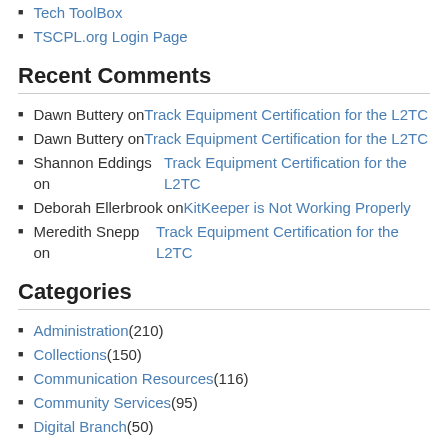Tech ToolBox
TSCPL.org Login Page
Recent Comments
Dawn Buttery on Track Equipment Certification for the L2TC
Dawn Buttery on Track Equipment Certification for the L2TC
Shannon Eddings on Track Equipment Certification for the L2TC
Deborah Ellerbrook on KitKeeper is Not Working Properly
Meredith Snepp on Track Equipment Certification for the L2TC
Categories
Administration (210)
Collections (150)
Communication Resources (116)
Community Services (95)
Digital Branch (50)